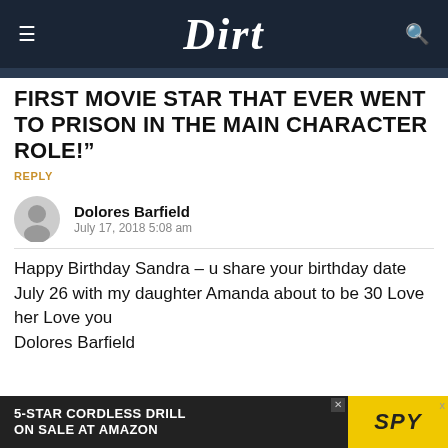Dirt
FIRST MOVIE STAR THAT EVER WENT TO PRISON IN THE MAIN CHARACTER ROLE!”
REPLY
Dolores Barfield
July 17, 2018 5:08 am
Happy Birthday Sandra – u share your birthday date July 26 with my daughter Amanda about to be 30 Love her Love you Dolores Barfield
[Figure (other): Advertisement banner: 5-STAR CORDLESS DRILL ON SALE AT AMAZON / SPY logo on yellow background]